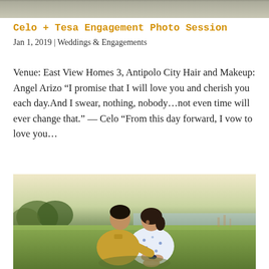[Figure (photo): Top portion of an outdoor photo, partially cropped, showing sky and landscape in muted warm tones]
Celo + Tesa Engagement Photo Session
Jan 1, 2019 | Weddings & Engagements
Venue: East View Homes 3, Antipolo City Hair and Makeup: Angel Arizo “I promise that I will love you and cherish you each day.And I swear, nothing, nobody…not even time will ever change that.” — Celo “From this day forward, I vow to love you…
[Figure (photo): A couple sitting outdoors on grass. A man in a yellow polo shirt looks lovingly at a woman in a floral dress who holds small baby shoes against her belly. Warm golden hour lighting, trees and water in background.]